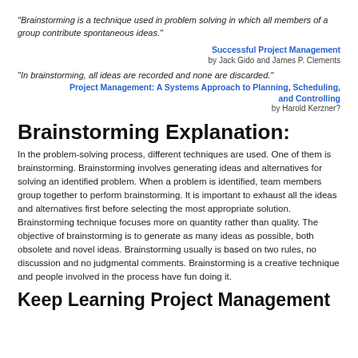"Brainstorming is a technique used in problem solving in which all members of a group contribute spontaneous ideas."
Successful Project Management by Jack Gido and James P. Clements
"In brainstorming, all ideas are recorded and none are discarded."
Project Management: A Systems Approach to Planning, Scheduling, and Controlling by Harold Kerzner?
Brainstorming Explanation:
In the problem-solving process, different techniques are used. One of them is brainstorming. Brainstorming involves generating ideas and alternatives for solving an identified problem. When a problem is identified, team members group together to perform brainstorming. It is important to exhaust all the ideas and alternatives first before selecting the most appropriate solution. Brainstorming technique focuses more on quantity rather than quality. The objective of brainstorming is to generate as many ideas as possible, both obsolete and novel ideas. Brainstorming usually is based on two rules, no discussion and no judgmental comments. Brainstorming is a creative technique and people involved in the process have fun doing it.
Keep Learning Project Management